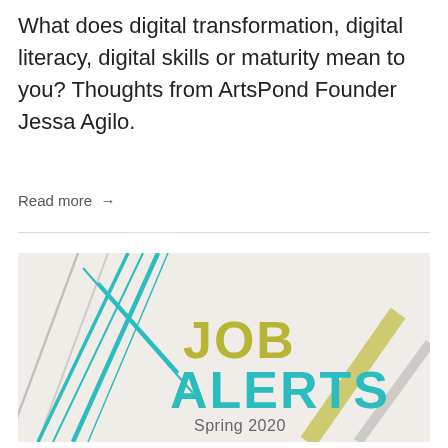What does digital transformation, digital literacy, digital skills or maturity mean to you? Thoughts from ArtsPond Founder Jessa Agilo.
Read more →
[Figure (illustration): Promotional graphic with diagonal abstract lines in teal, gray, and olive/yellow on a light gray background. Text reads 'JOB ALERTS' in large letters (JOB in olive/yellow, ALERTS in teal) and 'Spring 2020' below in gray.]